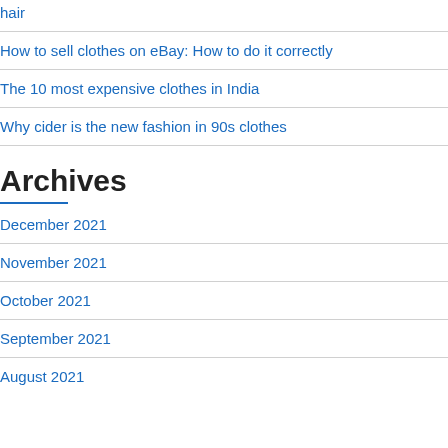hair
How to sell clothes on eBay: How to do it correctly
The 10 most expensive clothes in India
Why cider is the new fashion in 90s clothes
Archives
December 2021
November 2021
October 2021
September 2021
August 2021